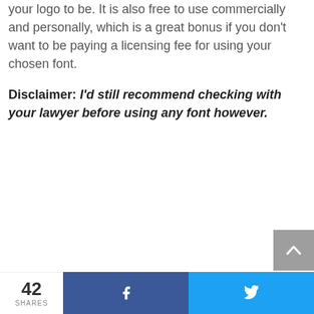your logo to be. It is also free to use commercially and personally, which is a great bonus if you don't want to be paying a licensing fee for using your chosen font.
Disclaimer: I'd still recommend checking with your lawyer before using any font however.
42 SHARES  f  (twitter bird)